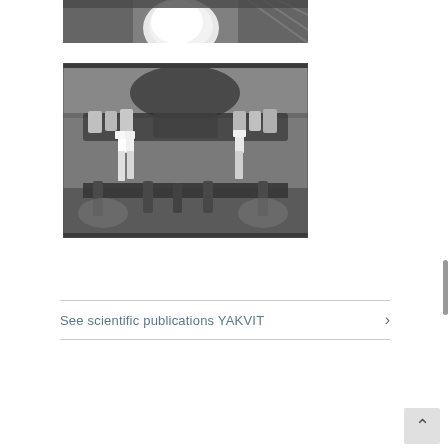[Figure (photo): Dental X-ray image (periapical or smaller radiograph) showing teeth with bright white circular object, partial view at top of page]
[Figure (photo): Panoramic dental X-ray showing full mouth radiograph with dental implants visible on left and right sides, and teeth with various restorations across the arch]
See scientific publications YAKVIT >